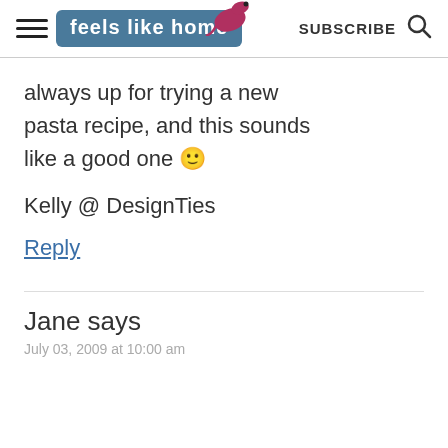feels like home — SUBSCRIBE
always up for trying a new pasta recipe, and this sounds like a good one 🙂
Kelly @ DesignTies
Reply
Jane says
July 03, 2009 at 10:00 am